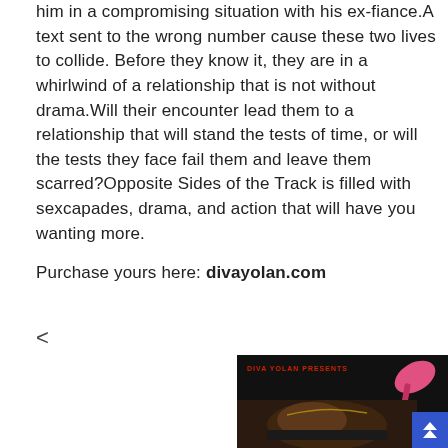him in a compromising situation with his ex-fiance.A text sent to the wrong number cause these two lives to collide. Before they know it, they are in a whirlwind of a relationship that is not without drama.Will their encounter lead them to a relationship that will stand the tests of time, or will the tests they face fail them and leave them scarred?Opposite Sides of the Track is filled with sexcapades, drama, and action that will have you wanting more.
Purchase yours here: divayolan.com
<
[Figure (photo): Book cover image with dark background, a pink high heel shoe, a person's lower body, text reading 'DIVA YOLAN PRESENTS' in red, and a blue scroll-up button in the bottom right corner.]